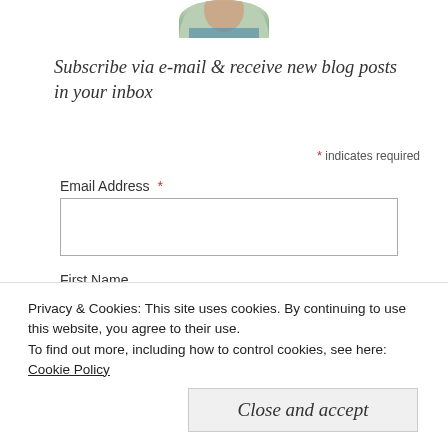[Figure (photo): Partial circular profile photo visible at top center of the page]
Subscribe via e-mail & receive new blog posts in your inbox
* indicates required
Email Address *
First Name
Privacy & Cookies: This site uses cookies. By continuing to use this website, you agree to their use.
To find out more, including how to control cookies, see here: Cookie Policy
Close and accept